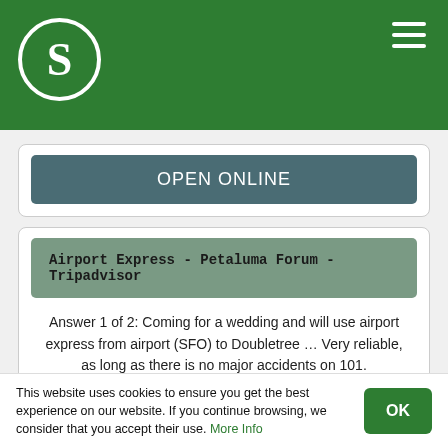[Figure (logo): Green circular logo with white letter S on green background header]
OPEN ONLINE
Airport Express - Petaluma Forum - Tripadvisor
Answer 1 of 2: Coming for a wedding and will use airport express from airport (SFO) to Doubletree ... Very reliable, as long as there is no major accidents on 101.
OPEN ONLINE
This website uses cookies to ensure you get the best experience on our website. If you continue browsing, we consider that you accept their use. More Info